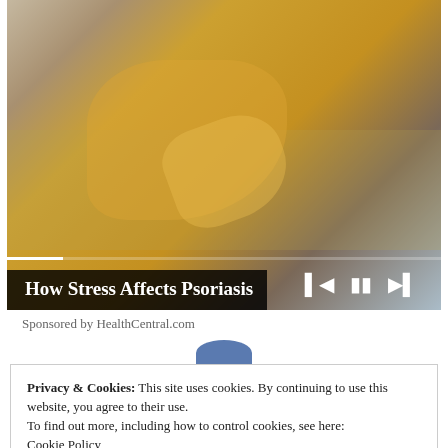[Figure (screenshot): Video player showing a woman in a yellow sweater scratching her arm, with playback controls and a progress bar at the bottom]
How Stress Affects Psoriasis
Sponsored by HealthCentral.com
Privacy & Cookies: This site uses cookies. By continuing to use this website, you agree to their use.
To find out more, including how to control cookies, see here:
Cookie Policy
Close and accept